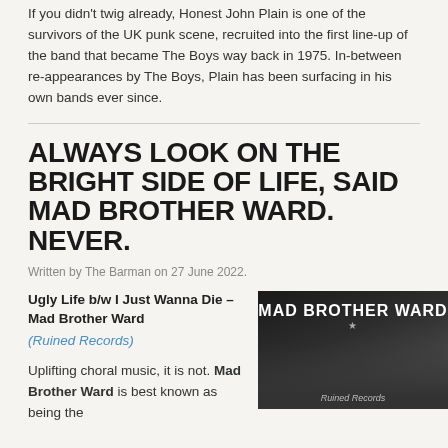If you didn't twig already, Honest John Plain is one of the survivors of the UK punk scene, recruited into the first line-up of the band that became The Boys way back in 1975. In-between re-appearances by The Boys, Plain has been surfacing in his own bands ever since.
ALWAYS LOOK ON THE BRIGHT SIDE OF LIFE, SAID MAD BROTHER WARD. NEVER.
Written by The Barman on 27 June 2022.
Ugly Life b/w I Just Wanna Die – Mad Brother Ward (Ruined Records)
Uplifting choral music, it is not. Mad Brother Ward is best known as being the
[Figure (photo): Black and white album cover or band photo for Mad Brother Ward, showing band name in bold white text on dark background]